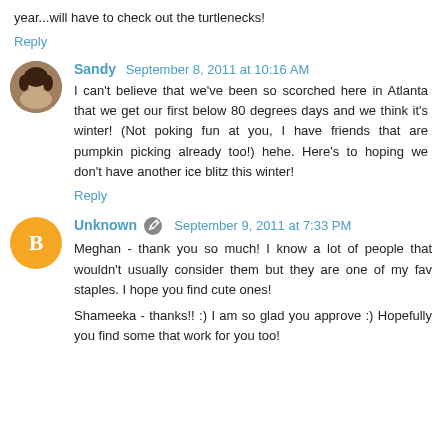year...will have to check out the turtlenecks!
Reply
Sandy  September 8, 2011 at 10:16 AM
I can't believe that we've been so scorched here in Atlanta that we get our first below 80 degrees days and we think it's winter! (Not poking fun at you, I have friends that are pumpkin picking already too!) hehe. Here's to hoping we don't have another ice blitz this winter!
Reply
Unknown  September 9, 2011 at 7:33 PM
Meghan - thank you so much! I know a lot of people that wouldn't usually consider them but they are one of my fav staples. I hope you find cute ones!
Shameeka - thanks!! :) I am so glad you approve :) Hopefully you find some that work for you too!